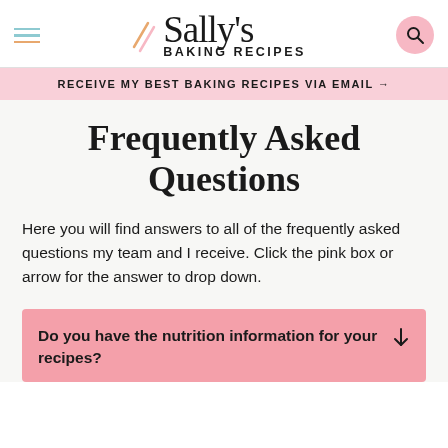Sally's Baking Recipes
RECEIVE MY BEST BAKING RECIPES VIA EMAIL →
Frequently Asked Questions
Here you will find answers to all of the frequently asked questions my team and I receive. Click the pink box or arrow for the answer to drop down.
Do you have the nutrition information for your recipes?